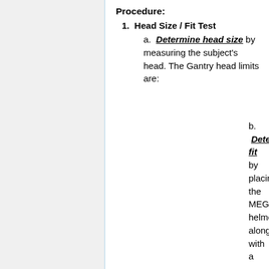Procedure:
1. Head Size / Fit Test
a. Determine head size by measuring the subject's head. The Gantry head limits are:
b. Determine fit by placing the MEG helmet along with a